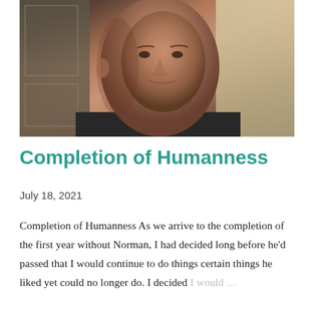[Figure (photo): Close-up photo of an older man with a shaved head wearing a dark shirt, smiling slightly, with a kitchen or indoor background behind him.]
Completion of Humanness
July 18, 2021
Completion of Humanness As we arrive to the completion of the first year without Norman, I had decided long before he'd passed that I would continue to do things certain things he liked yet could no longer do. I decided I would …